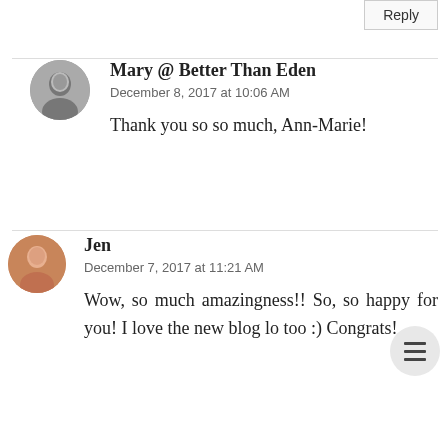Reply
Mary @ Better Than Eden
December 8, 2017 at 10:06 AM
Thank you so so much, Ann-Marie!
Jen
December 7, 2017 at 11:21 AM
Wow, so much amazingness!! So, so happy for you! I love the new blog lo too :) Congrats!